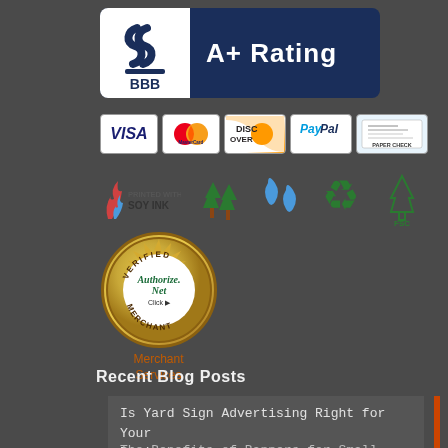[Figure (logo): BBB A+ Rating badge with Better Business Bureau logo on white background and blue panel with 'A+ Rating' text]
[Figure (logo): Payment method icons: VISA, MasterCard, Discover, PayPal, Paper Check]
[Figure (logo): Eco-friendly icons: Printed with Soy Ink, green trees, water drops, recycling symbol, FSC logo]
[Figure (logo): Authorize.Net Verified Merchant badge with circular gold seal and Merchant Services text below]
Recent Blog Posts
Is Yard Sign Advertising Right for Your Business?
The Benefits of Banners for Small Business...